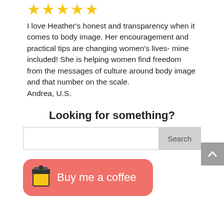[Figure (other): Five gold star rating icons in a row]
I love Heather's honest and transparency when it comes to body image. Her encouragement and practical tips are changing women's lives- mine included! She is helping women find freedom from the messages of culture around body image and that number on the scale. Andrea, U.S.
Looking for something?
[Figure (other): Search bar with Search button]
[Figure (other): Buy me a coffee button with coffee cup icon]
[Figure (other): Scroll to top button with up arrow]